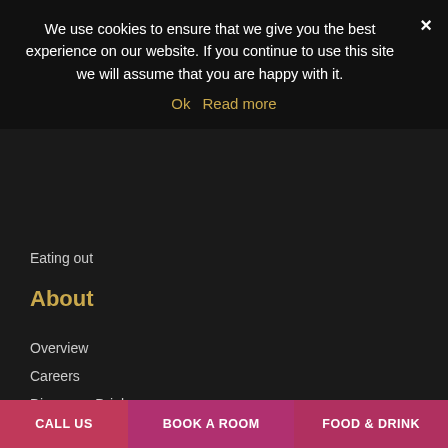We use cookies to ensure that we give you the best experience on our website. If you continue to use this site we will assume that you are happy with it.
Ok  Read more
Eating out
About
Overview
Careers
Discovery Drink
Contact Us
Privacy Policy
Terms & Conditions
The Family…
The Cr  Boutique
CALL US
BOOK A ROOM
FOOD & DRINK